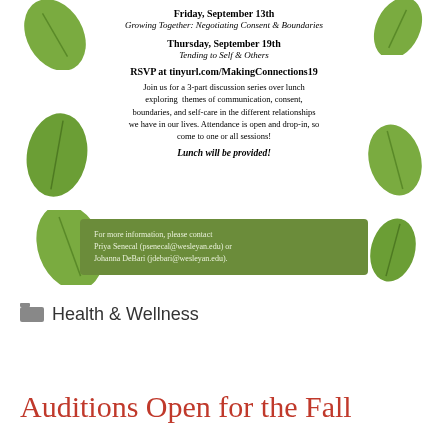[Figure (illustration): Event flyer with decorative green leaves, dates, RSVP info, description text, and contact banner]
Friday, September 13th
Growing Together: Negotiating Consent & Boundaries
Thursday, September 19th
Tending to Self & Others
RSVP at tinyurl.com/MakingConnections19
Join us for a 3-part discussion series over lunch exploring themes of communication, consent, boundaries, and self-care in the different relationships we have in our lives. Attendance is open and drop-in, so come to one or all sessions!
Lunch will be provided!
For more information, please contact Priya Senecal (psenecal@wesleyan.edu) or Johanna DeBari (jdebari@wesleyan.edu).
Health & Wellness
Auditions Open for the Fall